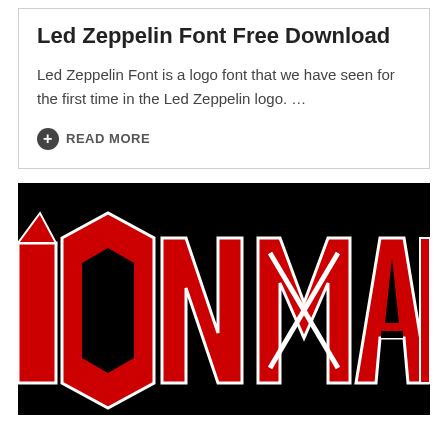Led Zeppelin Font Free Download
Led Zeppelin Font is a logo font that we have seen for the first time in the Led Zeppelin logo. …
READ MORE
[Figure (logo): Iron Maiden logo in red and white lettering on a black background, showing 'ION MAID' (cropped), with angular stylized heavy metal lettering]